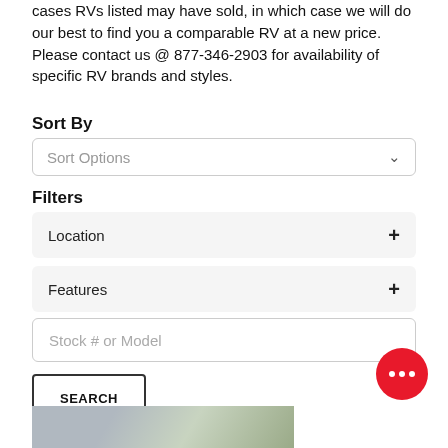cases RVs listed may have sold, in which case we will do our best to find you a comparable RV at a new price. Please contact us @ 877-346-2903 for availability of specific RV brands and styles.
Sort By
Sort Options
Filters
Location
Features
Stock # or Model
SEARCH
[Figure (other): Red circular chat bubble icon with three white dots]
[Figure (photo): Partial image of RVs parked outdoors with trees in background]